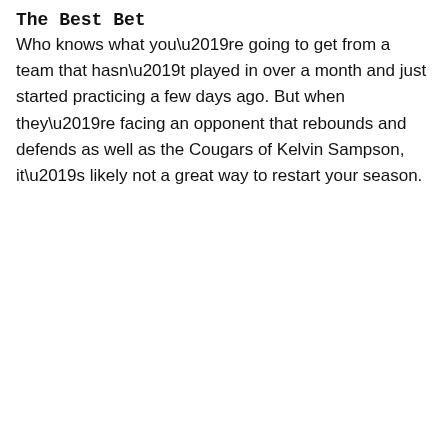The Best Bet
Who knows what you’re going to get from a team that hasn’t played in over a month and just started practicing a few days ago. But when they’re facing an opponent that rebounds and defends as well as the Cougars of Kelvin Sampson, it’s likely not a great way to restart your season.